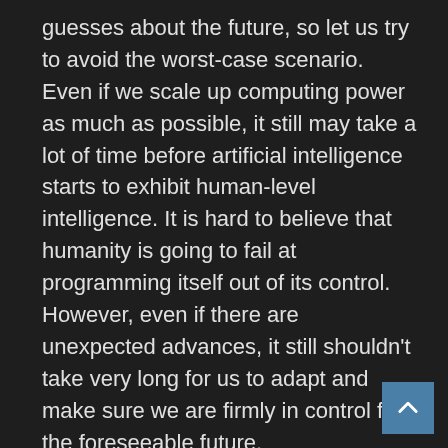guesses about the future, so let us try to avoid the worst-case scenario. Even if we scale up computing power as much as possible, it still may take a lot of time before artificial intelligence starts to exhibit human-level intelligence. It is hard to believe that humanity is going to fail at programming itself out of its control. However, even if there are unexpected advances, it still shouldn't take very long for us to adapt and make sure we are firmly in control for the foreseeable future.